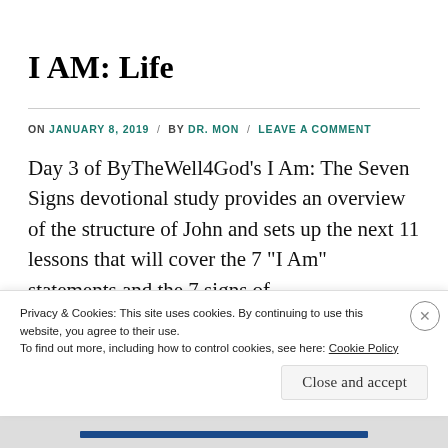I AM: Life
ON JANUARY 8, 2019 / BY DR. MON / LEAVE A COMMENT
Day 3 of ByTheWell4God's I Am: The Seven Signs devotional study provides an overview of the structure of John and sets up the next 11 lessons that will cover the 7 "I Am" statements and the 7 signs of
Privacy & Cookies: This site uses cookies. By continuing to use this website, you agree to their use. To find out more, including how to control cookies, see here: Cookie Policy
Close and accept